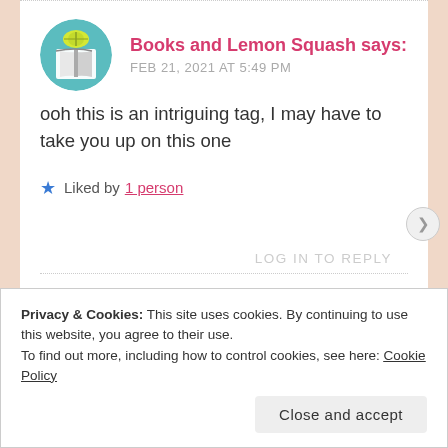[Figure (illustration): Circular avatar with teal background showing an open book icon with a yellow/green lemon on top, representing 'Books and Lemon Squash' blog]
Books and Lemon Squash says:
FEB 21, 2021 AT 5:49 PM
ooh this is an intriguing tag, I may have to take you up on this one
★ Liked by 1 person
LOG IN TO REPLY
Privacy & Cookies: This site uses cookies. By continuing to use this website, you agree to their use.
To find out more, including how to control cookies, see here: Cookie Policy
Close and accept